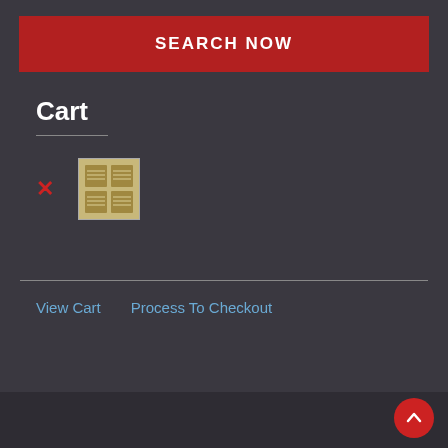SEARCH NOW
Cart
[Figure (illustration): Small thumbnail image of a product (book/magazine with grid layout) in the cart]
View Cart    Process To Checkout